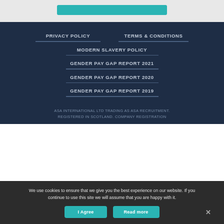PRIVACY POLICY
TERMS & CONDITIONS
MODERN SLAVERY POLICY
GENDER PAY GAP REPORT 2021
GENDER PAY GAP REPORT 2020
GENDER PAY GAP REPORT 2019
ASA INTERNATIONAL LTD TRADING AS ASA RECRUITMENT. REGISTERED IN SCOTLAND. COMPANY REGISTRATION
We use cookies to ensure that we give you the best experience on our website. If you continue to use this site we will assume that you are happy with it.